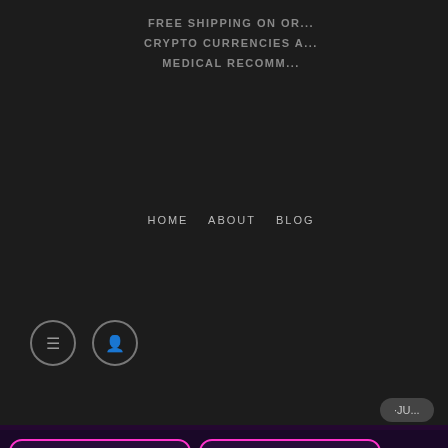FREE SHIPPING ON OR...
CRYPTO CURRENCIES A...
MEDICAL RECOMM...
HOME   ABOUT   BLOG
CART
[Figure (screenshot): Product thumbnail for Buy La Pac Boys Carts Online showing a product package]
Buy La Pac Boys Carts Online
2 × $19.00
Subtotal: $38.00
VIEW CART
CHECKOUT
[Figure (logo): Bitcoin payment logo badge]
HOME
✓ "Buy La Pac Boys Ca...
A Minimum of [$150.00